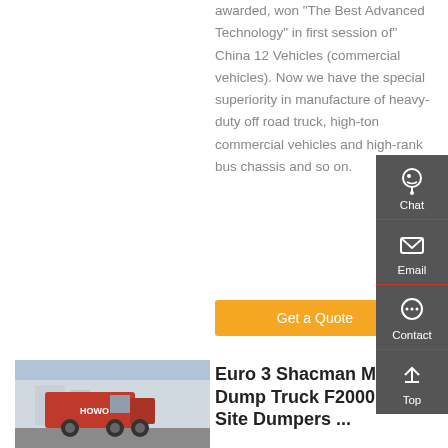awarded, won "The Best Advanced Technology" in first session of" China 12 Vehicles (commercial vehicles). Now we have the special superiority in manufacture of heavy-duty off road truck, high-ton commercial vehicles and high-rank bus chassis and so on.
Get a Quote
[Figure (photo): Red heavy-duty truck (Howo) parked at a facility]
Euro 3 Shacman Mining Dump Truck F2000 6x4 Site Dumpers ...